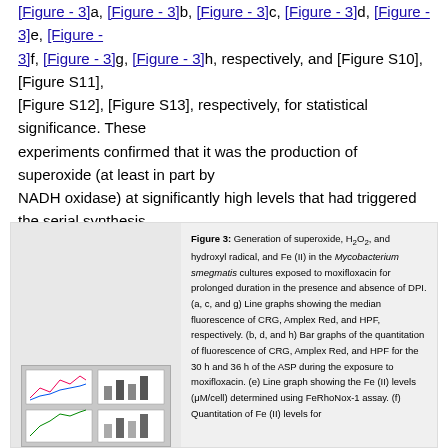[Figure - 3]a, [Figure - 3]b, [Figure - 3]c, [Figure - 3]d, [Figure - 3]e, [Figure - 3]f, [Figure - 3]g, [Figure - 3]h, respectively, and [Figure S10], [Figure S11], [Figure S12], [Figure S13], respectively, for statistical significance. These experiments confirmed that it was the production of superoxide (at least in part by NADH oxidase) at significantly high levels that had triggered the serial synthesis of H₂O₂ and then hydroxyl radical in the presence of Fe (II). These molecular processes were depicted in a model [Figure - 4].
[Figure (photo): Small scientific figure thumbnail showing line and bar graphs related to fluorescence measurements]
Figure 3: Generation of superoxide, H₂O₂, and hydroxyl radical, and Fe (II) in the Mycobacterium smegmatis cultures exposed to moxifloxacin for prolonged duration in the presence and absence of DPI. (a, c, and g) Line graphs showing the median fluorescence of CRG, Amplex Red, and HPF, respectively. (b, d, and h) Bar graphs of the quantitation of fluorescence of CRG, Amplex Red, and HPF for the 30 h and 36 h of the ASP during the exposure to moxifloxacin. (e) Line graph showing the Fe (II) levels (μM/cell) determined using FeRhoNox-1 assay. (f) Quantitation of Fe (II) levels for